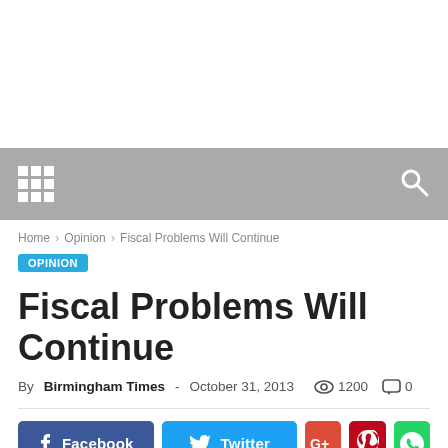Home › Opinion › Fiscal Problems Will Continue
OPINION
Fiscal Problems Will Continue
By Birmingham Times - October 31, 2013  1200  0
[Figure (other): Social media share buttons: Facebook, Twitter, Google+, Pinterest, WhatsApp]